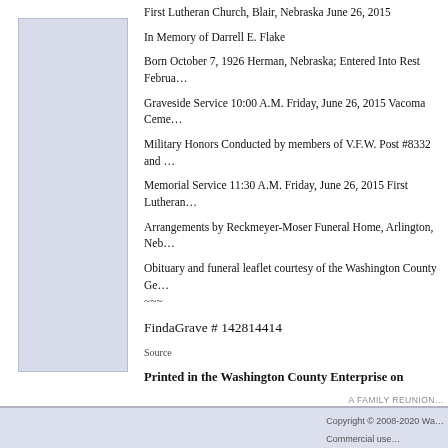First Lutheran Church, Blair, Nebraska June 26, 2015
In Memory of Darrell E. Flake
Born October 7, 1926 Herman, Nebraska; Entered Into Rest Februa…
Graveside Service 10:00 A.M. Friday, June 26, 2015 Vacoma Ceme…
Military Honors Conducted by members of V.F.W. Post #8332 and …
Memorial Service 11:30 A.M. Friday, June 26, 2015 First Lutheran…
Arrangements by Reckmeyer-Moser Funeral Home, Arlington, Neb…
Obituary and funeral leaflet courtesy of the Washington County Ge…
~~~
FindaGrave # 142814414
Source
Printed in the Washington County Enterprise on 6/19/2015
This obituary was added online on 6/22/2015
This obituary was last updated on 2/14/2020
[BACK]
A FAMILY REUNION…
Copyright © 2008-2020 Wa… Commercial use…